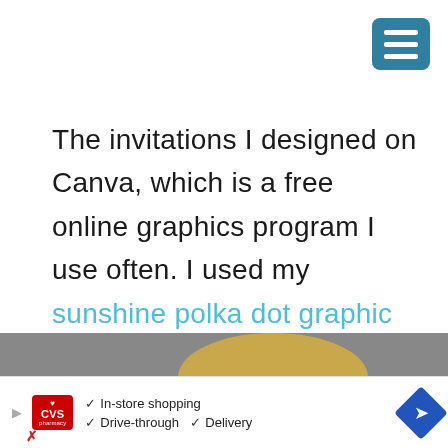[Figure (other): Blue hamburger menu button with three white horizontal bars, positioned top-right corner]
The invitations I designed on Canva, which is a free online graphics program I use often. I used my sunshine polka dot graphic as the inspiration for my “You are my Sunshine” birthday invitation for my sweet Kenzie.
SUNSHINE BIRTHDAY PARTY DECORATIONS
[Figure (photo): Partial photo showing a gold/yellow circular shape against a grey background, likely a party decoration]
[Figure (other): CVS Pharmacy advertisement banner showing In-store shopping, Drive-through, and Delivery options with navigation arrow icon]